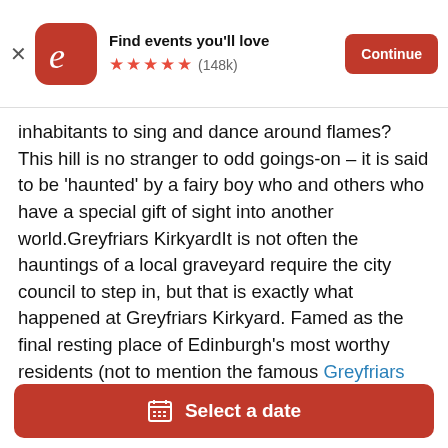Find events you'll love ★★★★★ (148k) Continue
inhabitants to sing and dance around flames? This hill is no stranger to odd goings-on – it is said to be 'haunted' by a fairy boy who and others who have a special gift of sight into another world.Greyfriars KirkyardIt is not often the hauntings of a local graveyard require the city council to step in, but that is exactly what happened at Greyfriars Kirkyard. Famed as the final resting place of Edinburgh's most worthy residents (not to mention the famous Greyfriars Bobby), this ancient Kirkyard is also home to Edinburgh's most grizzly poltergeist – Sir George Mackenzie After a successful career in torturing and
£11.37
Select a date